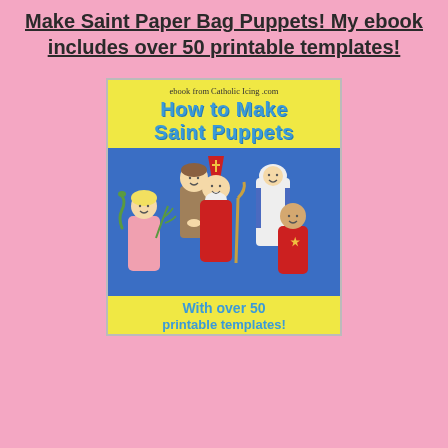Make Saint Paper Bag Puppets! My ebook includes over 50 printable templates!
[Figure (illustration): Book cover for 'How to Make Saint Puppets' ebook from Catholic Icing .com, with yellow top section showing the title in blue text, a blue middle section showing paper bag puppet figures of various saints including a bishop in red, a female saint in pink, a friar, a nun, and a child saint, and a yellow bottom section reading 'With over 50 printable templates!']